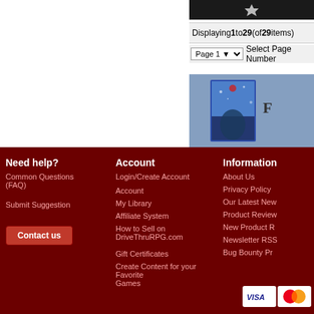Displaying 1 to 29 (of 29 items)
Page 1  Select Page Number
[Figure (screenshot): Product image showing a fantasy RPG book cover with snowy scene]
Need help?
Common Questions (FAQ)
Submit Suggestion
Contact us
Account
Login/Create Account
Account
My Library
Affiliate System
How to Sell on DriveThruRPG.com
Gift Certificates
Create Content for your Favorite Games
Information
About Us
Privacy Policy
Our Latest Ne...
Product Review...
New Product R...
Newsletter RSS
Bug Bounty Pr...
[Figure (logo): Visa and MasterCard payment icons]